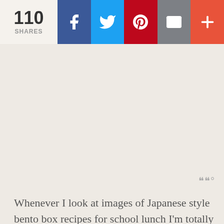[Figure (infographic): Social share bar showing 110 shares with Facebook (blue), Twitter (light blue), Pinterest (red), Email (gray), and More (+) (orange-red) buttons]
WU°
Whenever I look at images of Japanese style bento box recipes for school lunch I'm totally inspired and mesmerized. All of the food cut into fun shapes and sizes using pairing knives, food presses, cookie cutters and more to create an edible world I know my kids would absolutely love. I've seen animated characters,